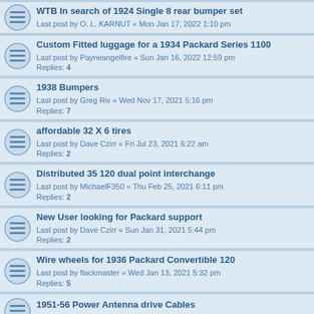WTB In search of 1924 Single 8 rear bumper set
Last post by O. L. KARNUT « Mon Jan 17, 2022 1:10 pm
Custom Fitted luggage for a 1934 Packard Series 1100
Last post by Payneangelfire « Sun Jan 16, 2022 12:59 pm
Replies: 4
1938 Bumpers
Last post by Greg Riv « Wed Nov 17, 2021 5:16 pm
Replies: 7
affordable 32 X 6 tires
Last post by Dave Czirr « Fri Jul 23, 2021 6:22 am
Replies: 2
Distributed 35 120 dual point interchange
Last post by MichaelF350 « Thu Feb 25, 2021 6:11 pm
Replies: 2
New User looking for Packard support
Last post by Dave Czirr « Sun Jan 31, 2021 5:44 pm
Replies: 2
Wire wheels for 1936 Packard Convertible 120
Last post by flackmaster « Wed Jan 13, 2021 5:32 pm
Replies: 5
1951-56 Power Antenna drive Cables
Last post by Scott Raswyck « Fri Dec 25, 2020 3:26 pm
correct rims for 1956 Executive
Last post by Dads 56 « Tue Oct 06, 2020 8:35 am
Replies: 1
In search of a water pump pulley 1939